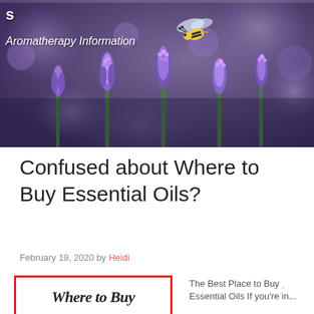[Figure (photo): Hero banner photo of lavender flowers with a bumblebee flying above them, blurred purple/green bokeh background. White text overlay reads 's' and 'Aromatherapy Information'.]
s
Aromatherapy Information
Confused about Where to Buy Essential Oils?
February 19, 2020 by Heidi
[Figure (illustration): Decorative script image inside a red border reading 'Where to Buy']
The Best Place to Buy Essential Oils If you're in...